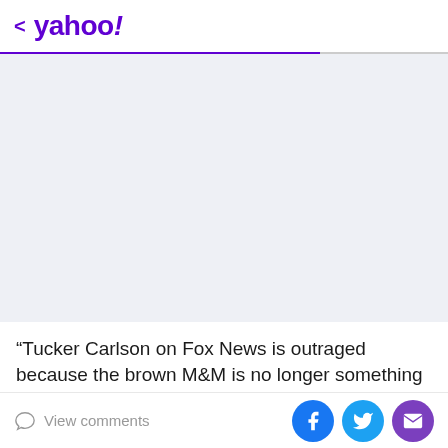< yahoo!
[Figure (other): Light gray advertisement placeholder area]
“Tucker Carlson on Fox News is outraged because the brown M&M is no longer something he wants to take out for a drink and have sex with,” tweeted user Christian Christensen, pointing out that “This is the leading cable
View comments | Facebook share | Twitter share | Email share